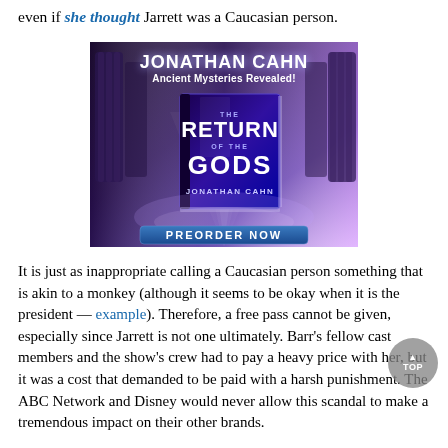even if she thought Jarrett was a Caucasian person.
[Figure (illustration): Book advertisement for Jonathan Cahn's 'The Return of the Gods' featuring a dramatic temple background with purple and blue lighting, a book cover in the center showing 'THE RETURN OF THE GODS JONATHAN CAHN', text reading 'JONATHAN CAHN Ancient Mysteries Revealed!' at the top, and a blue 'PREORDER NOW' button at the bottom.]
It is just as inappropriate calling a Caucasian person something that is akin to a monkey (although it seems to be okay when it is the president — example). Therefore, a free pass cannot be given, especially since Jarrett is not one ultimately. Barr's fellow cast members and the show's crew had to pay a heavy price with her, but it was a cost that demanded to be paid with a harsh punishment. The ABC Network and Disney would never allow this scandal to make a tremendous impact on their other brands.